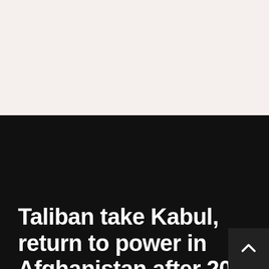Taliban take Kabul, return to power in Afghanistan after 20 years – 08/15/2021 – World